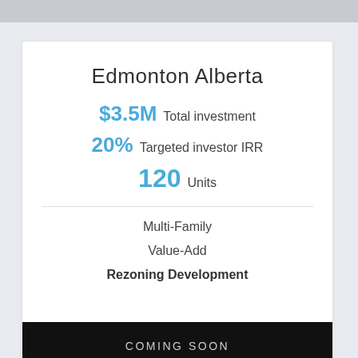Edmonton Alberta
$3.5M Total investment
20% Targeted investor IRR
120 Units
Multi-Family
Value-Add
Rezoning Development
COMING SOON